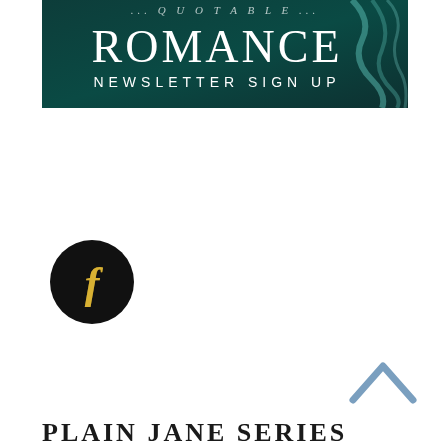[Figure (illustration): Dark teal/green banner image with smoke wisps, text reading 'ROMANCE' in large serif font and 'NEWSLETTER SIGN UP' below in smaller caps, partially visible top line above ROMANCE]
[Figure (logo): Black circular Facebook icon with gold/yellow letter f in the center]
[Figure (illustration): Upward-pointing chevron/caret arrow in steel blue color, used as a scroll-to-top button]
PLAIN JANE SERIES